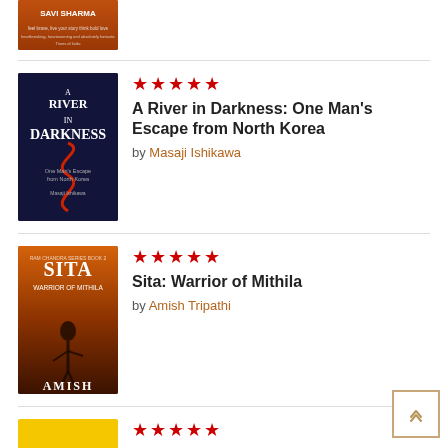[Figure (photo): Partial book cover at top - Savi Sharma book, orange/brown cover]
[Figure (photo): Book cover: A River in Darkness - dark navy cover with red snake-like river, text by Masaji Ishikawa]
A River in Darkness: One Man's Escape from North Korea by Masaji Ishikawa, 5 stars
[Figure (photo): Book cover: Sita Warrior of Mithila - warrior woman silhouette at sunset, by Amish]
Sita: Warrior of Mithila by Amish Tripathi, 5 stars
[Figure (photo): Book cover: Make Time - yellow cover]
Make Time: How to Focus on What Matters, 5 stars